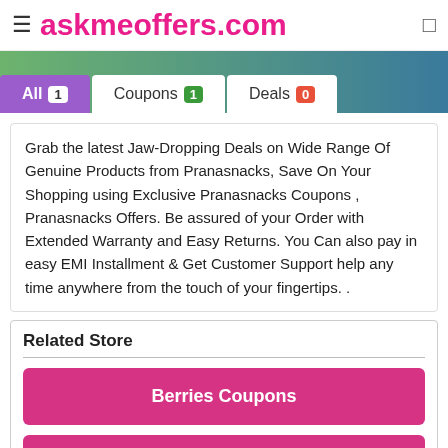≡ askmeoffers.com
All 1
Coupons 1
Deals 0
Grab the latest Jaw-Dropping Deals on Wide Range Of Genuine Products from Pranasnacks, Save On Your Shopping using Exclusive Pranasnacks Coupons , Pranasnacks Offers. Be assured of your Order with Extended Warranty and Easy Returns. You Can also pay in easy EMI Installment & Get Customer Support help any time anywhere from the touch of your fingertips. .
Related Store
Berries Coupons
Bokksu Coupons